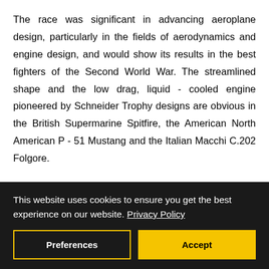The race was significant in advancing aeroplane design, particularly in the fields of aerodynamics and engine design, and would show its results in the best fighters of the Second World War. The streamlined shape and the low drag, liquid-cooled engine pioneered by Schneider Trophy designs are obvious in the British Supermarine Spitfire, the American North American P-51 Mustang and the Italian Macchi C.202 Folgore.
Between 1913 and 1931, The competition was won five times by the United Kingdom, three times by Italy, twice by the United States, and once by France. First held in The...
This website uses cookies to ensure you get the best experience on our website. Privacy Policy